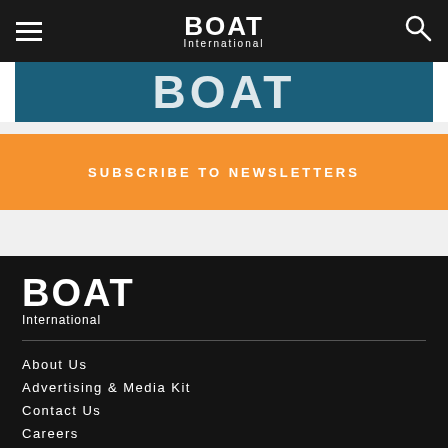BOAT International
[Figure (logo): Teal/dark blue banner with partial BOAT logo text in white]
SUBSCRIBE TO NEWSLETTERS
[Figure (logo): BOAT International logo in white on dark background]
About Us
Advertising & Media Kit
Contact Us
Careers
Terms of Use
Cookie Policy
Privacy Policy